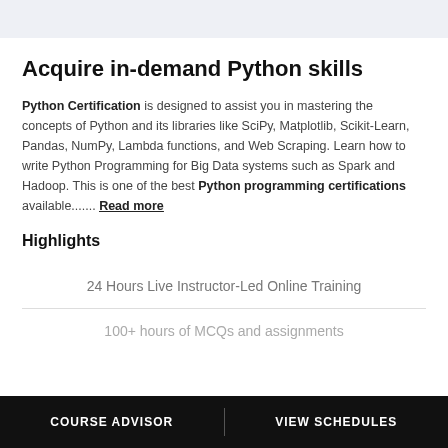Acquire in-demand Python skills
Python Certification is designed to assist you in mastering the concepts of Python and its libraries like SciPy, Matplotlib, Scikit-Learn, Pandas, NumPy, Lambda functions, and Web Scraping. Learn how to write Python Programming for Big Data systems such as Spark and Hadoop. This is one of the best Python programming certifications available....... Read more
Highlights
24 Hours Live Instructor-Led Online Training
100+ hours of MCQs and assignments
COURSE ADVISOR   VIEW SCHEDULES